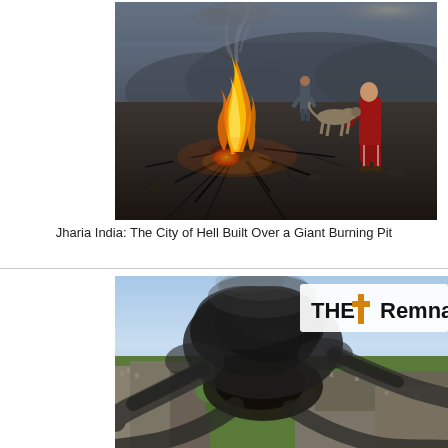[Figure (photo): Ground-level photo of a fire burning through cracked earth at Jharia, India coal field, with people and a dog standing nearby in a dark, smoky landscape.]
Jharia India: The City of Hell Built Over a Giant Burning Pit
[Figure (photo): Aerial photo of a massive dark smoke and ash plume rising from a burning area surrounded by green and urban landscape, with a 'THE † Remnants' logo overlay in the upper right.]